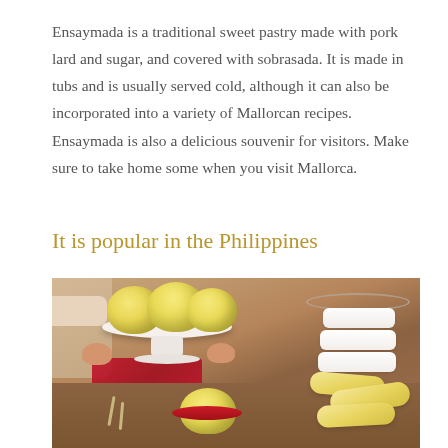Ensaymada is a traditional sweet pastry made with pork lard and sugar, and covered with sobrasada. It is made in tubs and is usually served cold, although it can also be incorporated into a variety of Mallorcan recipes. Ensaymada is also a delicious souvenir for visitors. Make sure to take home some when you visit Mallorca.
It is popular in the Philippines
[Figure (photo): Photo of Ensaymada pastries on a white cake stand held by a person wearing a beige apron, with white bread rolls in a glass container on the right, finger rolls and a small bun in the foreground on a wooden table with a red cloth.]